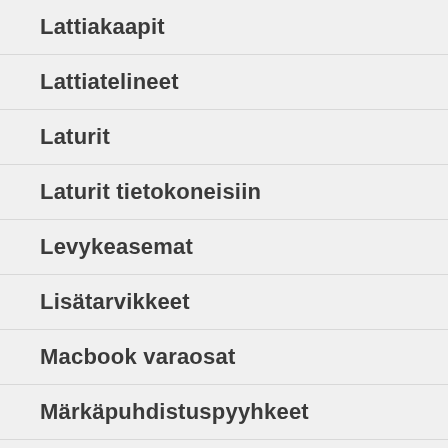Lattiakaapit
Lattiatelineet
Laturit
Laturit tietokoneisiin
Levykeasemat
Lisätarvikkeet
Macbook varaosat
Märkäpuhdistuspyyhkeet
Matkapuhelimet